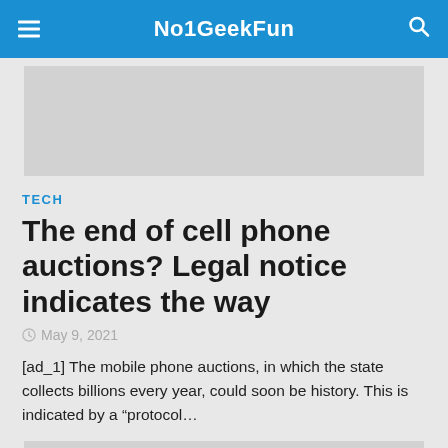No1GeekFun
[Figure (other): Top advertisement banner placeholder (gray box)]
TECH
The end of cell phone auctions? Legal notice indicates the way
May 9, 2021
[ad_1] The mobile phone auctions, in which the state collects billions every year, could soon be history. This is indicated by a “protocol…
[Figure (other): Bottom advertisement banner placeholder (gray box)]